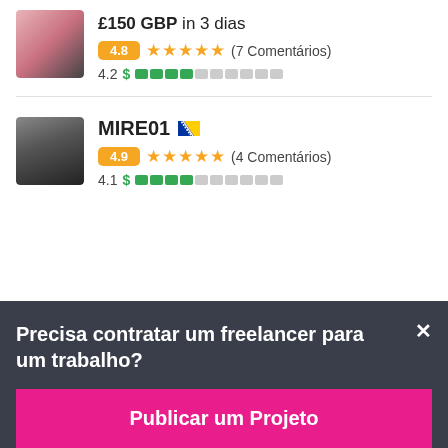£150 GBP in 3 dias
4.8 ★★★★★ (7 Comentários)
4.2 $ ████░░░░░░
MIRE01
4.9 ★★★★★ (4 Comentários)
4.1 $ ████░░░░░░
Precisa contratar um freelancer para um trabalho?
Publicar um Projeto